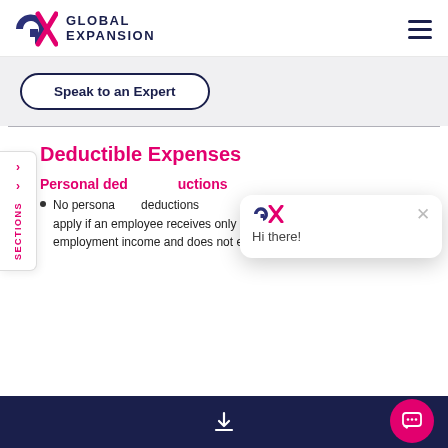Global Expansion — navigation header with logo and hamburger menu
Speak to an Expert
Deductible Expenses
Personal deductions
No personal deductions apply if an employee receives only employment income and does not elect
[Figure (screenshot): Chat popup overlay with GX logo, close button, and Hi there! greeting text]
Bottom navigation bar with download icon and chat button